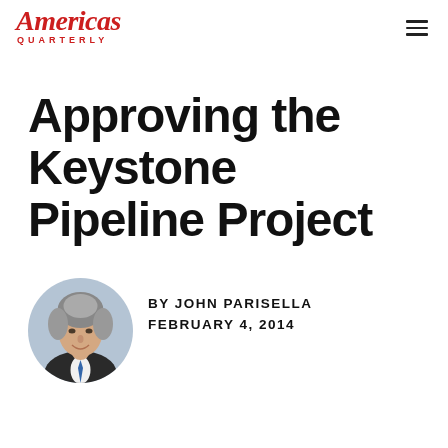Americas Quarterly
Approving the Keystone Pipeline Project
[Figure (illustration): Circular portrait illustration of John Parisella, a man with grey hair wearing a dark suit]
BY JOHN PARISELLA
FEBRUARY 4, 2014